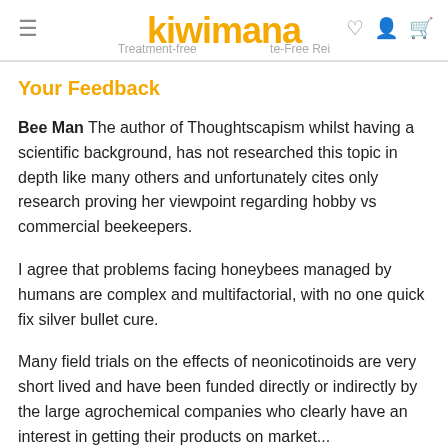kiwimana | Treatment-free ... -free Rei...
Your Feedback
Bee Man The author of Thoughtscapism whilst having a scientific background, has not researched this topic in depth like many others and unfortunately cites only research proving her viewpoint regarding hobby vs commercial beekeepers.
I agree that problems facing honeybees managed by humans are complex and multifactorial, with no one quick fix silver bullet cure.
Many field trials on the effects of neonicotinoids are very short lived and have been funded directly or indirectly by the large agrochemical companies who clearly have an interest in getting their products on market...